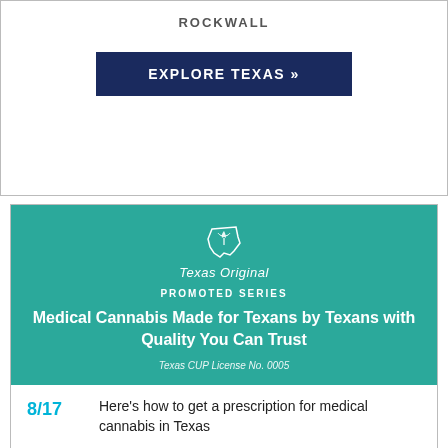ROCKWALL
EXPLORE TEXAS »
[Figure (infographic): Texas Original promoted series banner with teal background, logo, headline about medical cannabis made for Texans.]
8/17 Here's how to get a prescription for medical cannabis in Texas
4/20 Celebrate 4/20 with the state's first Texas-owned medical marijuana dispensary
8/31 Texas is expanding access to medical marijuana. Do you qualify?